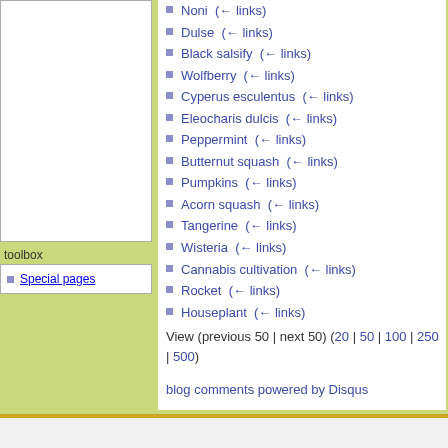Noni  (← links)
Dulse  (← links)
Black salsify  (← links)
Wolfberry  (← links)
Cyperus esculentus  (← links)
Eleocharis dulcis  (← links)
Peppermint  (← links)
Butternut squash  (← links)
Pumpkins  (← links)
Acorn squash  (← links)
Tangerine  (← links)
Wisteria  (← links)
Cannabis cultivation  (← links)
Rocket  (← links)
Houseplant  (← links)
View (previous 50 | next 50) (20 | 50 | 100 | 250 | 500)
blog comments powered by Disqus
toolbox
Special pages